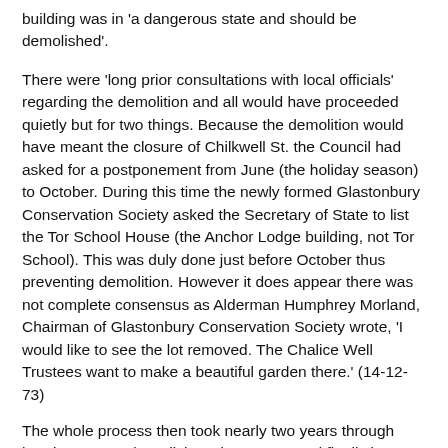building was in 'a dangerous state and should be demolished'.
There were 'long prior consultations with local officials' regarding the demolition and all would have proceeded quietly but for two things. Because the demolition would have meant the closure of Chilkwell St. the Council had asked for a postponement from June (the holiday season) to October. During this time the newly formed Glastonbury Conservation Society asked the Secretary of State to list the Tor School House (the Anchor Lodge building, not Tor School). This was duly done just before October thus preventing demolition. However it does appear there was not complete consensus as Alderman Humphrey Morland, Chairman of Glastonbury Conservation Society wrote, 'I would like to see the lot removed. The Chalice Well Trustees want to make a beautiful garden there.' (14-12-73)
The whole process then took nearly two years through hearings, appeals, solicitor's letters etc. and finally in June 1975 the case for and against demolition of Tor School House was heard at a public inquiry in front of Inspector K. Dodds.
At the hearing the Chairman of Chalice Well Trust, C.L.E. Cornwall Loch...